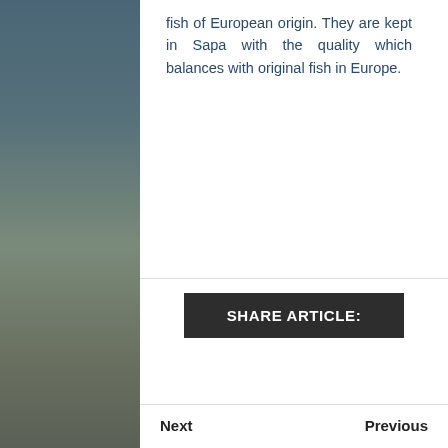fish of European origin. They are kept in Sapa with the quality which balances with original fish in Europe.
SHARE ARTICLE:
Next
Previous